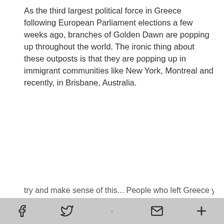As the third largest political force in Greece following European Parliament elections a few weeks ago, branches of Golden Dawn are popping up throughout the world. The ironic thing about these outposts is that they are popping up in immigrant communities like New York, Montreal and recently, in Brisbane, Australia.
try and make sense of this... People who left Greece years ago
Social share bar with Facebook, Twitter, email, and plus icons